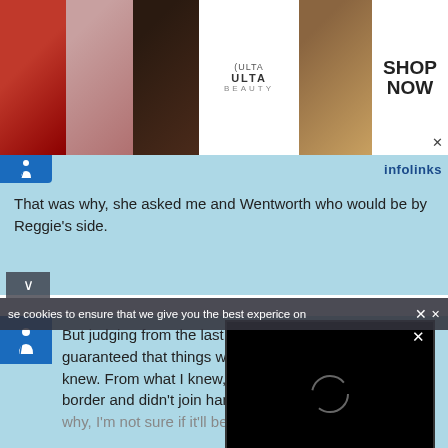[Figure (screenshot): Ulta Beauty advertisement banner with makeup images (lips with red lipstick, face with brush, eyes with makeup, ULTA logo, eyes close-up) and 'SHOP NOW' call to action button]
[Figure (screenshot): infolinks text with light blue background bar, accessibility icon on left]
That was why, she asked me and Wentworth who would be by Reggie’s side.
[Figure (screenshot): Accessibility icon (wheelchair symbol) in blue square button]
But judging from the last t[ime,] guaranteed that things wil[l...] knew. From what I knew, R[...] border and didn’t join han[d...] why, I’m not sure if it’ll be [...]
[Figure (screenshot): Black video player overlay with loading spinner circle and X close button]
se cookies to ensure that we give you the best exper[ien]ce on
[Figure (screenshot): Bottom advertisement for Virginia Tire & Auto: 'Save Up to $100 on Brakes & Rotors at Virginia Tire & Auto' with logo circle and blue diamond arrow icon]